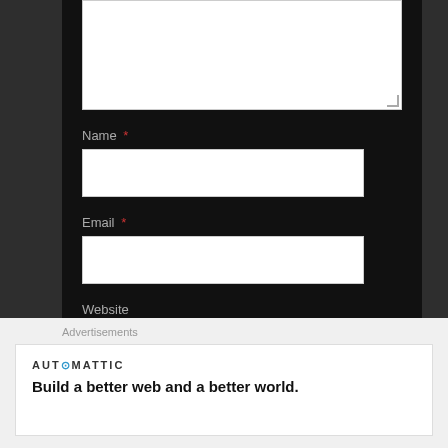[Figure (screenshot): Web comment form with textarea (partially visible at top), Name field with asterisk, Email field with asterisk, Website field, and Post Comment button on dark background]
Name *
Email *
Website
Post Comment
Advertisements
[Figure (logo): Automattic logo with stylized letter 'o' and tagline: Build a better web and a better world.]
Build a better web and a better world.